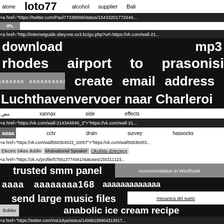alone   loto77   alcohol   supplier   Bali
<a href="https://twitter.com/Paul77338899/status/15433201772946...
IPL
<a href="http://internetguide.sitey.me.xx3.kz/go.php?url=https://vk.com/wall-21...
download   mp3
rhodes   airport   to   prasonisi
ааааааааа   ааааааааааа   create email address
Luchthavenvervoer naar Charleroi
مص   xannax   side   effects
<a href="https://vk.com/wall-214344848_2">"https://vk.com/wall-21...
aaaa   cctv   drain   survey   hassocks
<a href="https://vk.com/wall568364533_10057">"https://vk.com/wall56836453...
Electric bikes dublin   Motivational Speaker   Okulista dziecięcy
<a href="https://ok.ru/profile/575613774061/statuses/155311123...
trusted smm panel   Accommodation in Windhoek
aaaa   aaaaaaaa168   aaaaaaaaaaaaa
send large music files   mecanica del suelo
Builder   anabolic ice cream recipe
<a href="https://twitter.com/InstJulya/status/149961899043139...
cctv   drain   survey   reading
PZP   nigaal88